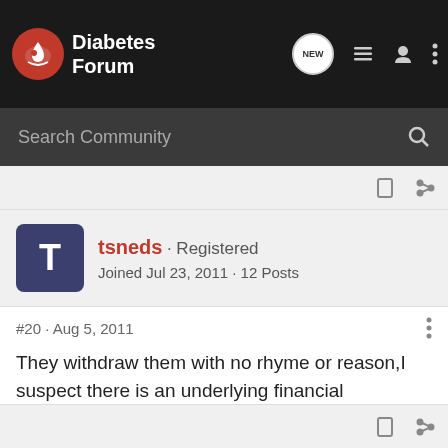Diabetes Forum
Search Community
tsneds · Registered
Joined Jul 23, 2011 · 12 Posts
#20 · Aug 5, 2011
They withdraw them with no rhyme or reason,I suspect there is an underlying financial motivation to these actions.